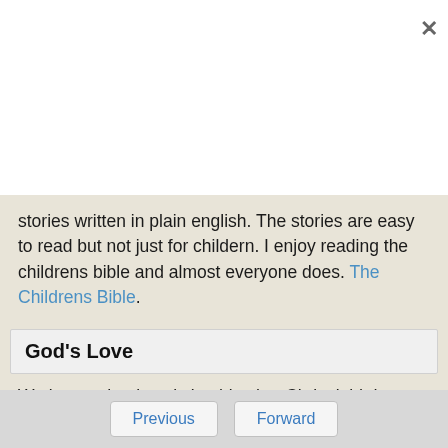stories written in plain english. The stories are easy to read but not just for childern. I enjoy reading the childrens bible and almost everyone does. The Childrens Bible.
God's Love
We know what love is by this, that Christ laid down his life for us; so we ought to lay down our lives for the brothers. But if any one has this world's wealth and looks on while his brother is in need and shows no sympathy for him, how can the love of God remain in him? Let us show our love not with words nor with
Previous   Forward